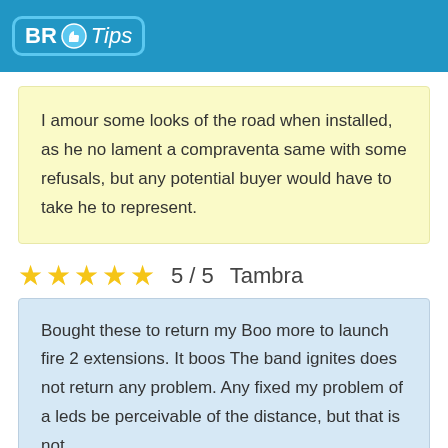BR Tips
I amour some looks of the road when installed, as he no lament a compraventa same with some refusals, but any potential buyer would have to take he to represent.
5 / 5  Tambra
Bought these to return my Boo more to launch fire 2 extensions. It boos The band ignites does not return any problem. Any fixed my problem of a leds be perceivable of the distance, but that is not